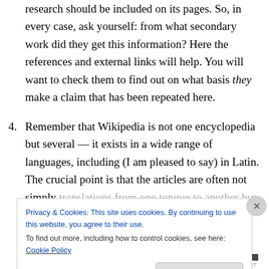research should be included on its pages. So, in every case, ask yourself: from what secondary work did they get this information? Here the references and external links will help. You will want to check them to find out on what basis they make a claim that has been repeated here.
4. Remember that Wikipedia is not one encyclopedia but several — it exists in a wide range of languages, including (I am pleased to say) in Latin. The crucial point is that the articles are often not simply translations from one tongue to another but are largely
Privacy & Cookies: This site uses cookies. By continuing to use this website, you agree to their use. To find out more, including how to control cookies, see here: Cookie Policy
HUFFINGTON POST